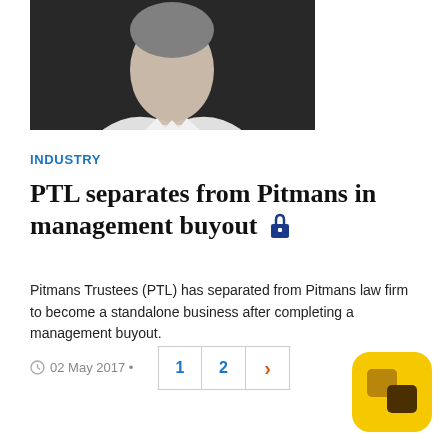[Figure (photo): Black and white headshot photo of a man in a dark suit, cropped at chin/neck level]
INDUSTRY
PTL separates from Pitmans in management buyout 🔒
Pitmans Trustees (PTL) has separated from Pitmans law firm to become a standalone business after completing a management buyout.
02 May 2017 •